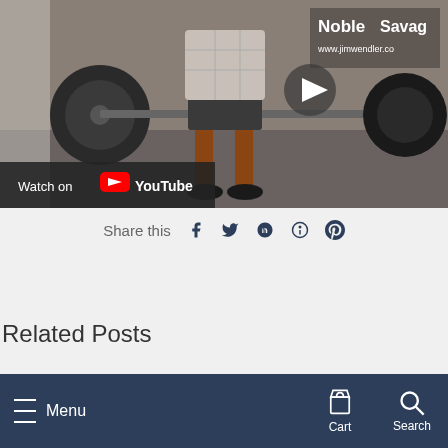[Figure (screenshot): YouTube video embed showing a person deadlifting in a gym with heavy barbells. A play button is visible in the center. A 'Watch on YouTube' bar is overlaid at the bottom left of the video. Visible text includes 'Noble', 'Savage', and 'www.jimwendler.co' on banners in the background.]
Share this
Related Posts
Menu  Cart  Search